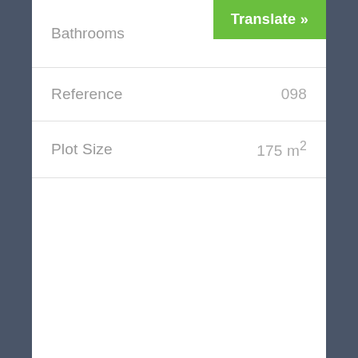Bathrooms
Translate »
| Property | Value |
| --- | --- |
| Reference | 098 |
| Plot Size | 175 m² |